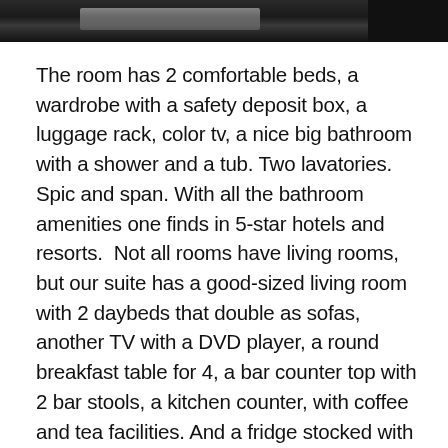[Figure (photo): A partial view of a hotel room or suite, dark toned image strip at the top of the page.]
The room has 2 comfortable beds, a wardrobe with a safety deposit box, a luggage rack, color tv, a nice big bathroom with a shower and a tub. Two lavatories. Spic and span. With all the bathroom amenities one finds in 5-star hotels and resorts.  Not all rooms have living rooms, but our suite has a good-sized living room with 2 daybeds that double as sofas, another TV with a DVD player, a round breakfast table for 4, a bar counter top with 2 bar stools, a kitchen counter, with coffee and tea facilities. And a fridge stocked with mini bar items. The veranda has two deck chairs and a clothes drying rack.